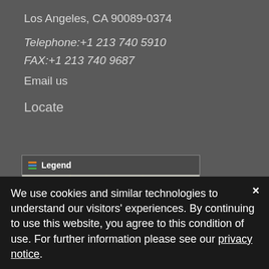Los Angeles, CA 90089-0374
Telephone:+1 213 740 5910
FAX:+1 213 740 9687
Email us
Locate
[Figure (map): Interactive map with Legend bar at top showing location markers (black circles connected by orange lines) on a satellite/street map background. Bottom bar shows 'Earthstar Geogr...' source and 'esri' logo.]
We use cookies and similar technologies to understand our visitors' experiences. By continuing to use this website, you agree to this condition of use. For further information please see our privacy notice.